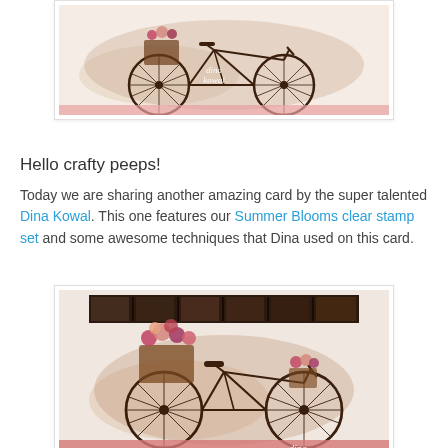[Figure (photo): Partial view of a handmade card featuring a bicycle with flowers, stamped in brown ink, with 'dina kowal' watermark text visible on the wheel area, pink stripe at bottom, on a light background.]
Hello crafty peeps!
Today we are sharing another amazing card by the super talented Dina Kowal. This one features our Summer Blooms clear stamp set and some awesome techniques that Dina used on this card.
[Figure (photo): Handmade card by Dina Kowal featuring a bicycle with colorful flower bouquets in the basket and front, stamped in brown ink on a watercolor wash background, with a strip of patterned paper across the top in dark tones and a pink/coral stripe at the bottom. Script text 'dina' is visible in the lower right corner.]